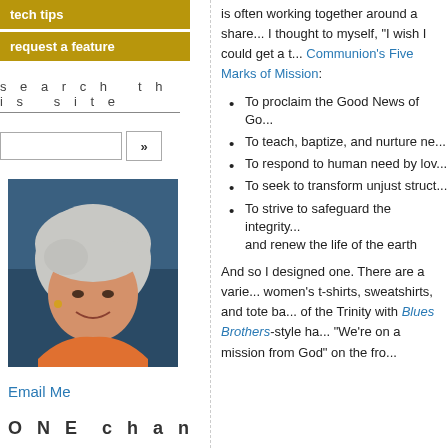tech tips
request a feature
search this site
[Figure (photo): Woman with short gray hair smiling, wearing an orange top, against a blue water background]
Email Me
ONE chance to make a real difference
is often working together around a share... I thought to myself, "I wish I could get a t... Communion's Five Marks of Mission":
To proclaim the Good News of Go...
To teach, baptize, and nurture ne...
To respond to human need by lov...
To seek to transform unjust struct...
To strive to safeguard the integrity... and renew the life of the earth
And so I designed one. There are a varie... women's t-shirts, sweatshirts, and tote ba... of the Trinity with Blues Brothers-style ha... "We're on a mission from God" on the fro...